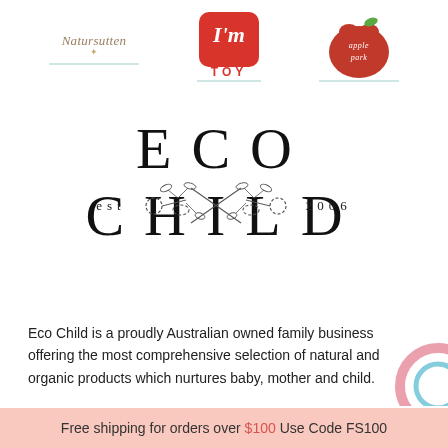[Figure (logo): Natursutten brand logo with cross symbol and teal divider line]
[Figure (logo): I'm Toy logo - red rounded square with white Im and TOY text]
[Figure (logo): Apple Park logo - red apple shape with green leaf and apple park text]
ECO CHILD
[Figure (illustration): est [floral branch decoration] 2006]
Eco Child is a proudly Australian owned family business offering the most comprehensive selection of natural and organic products which nurtures baby, mother and child.
Free shipping for orders over $100 Use Code FS100